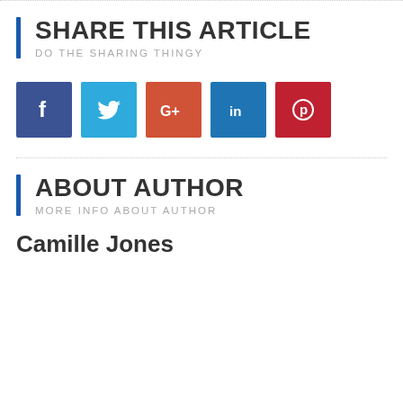SHARE THIS ARTICLE
DO THE SHARING THINGY
[Figure (infographic): Row of five social media share buttons: Facebook (dark blue, f), Twitter (light blue, bird), Google+ (orange-red, G+), LinkedIn (blue, in), Pinterest (red, P circle)]
ABOUT AUTHOR
MORE INFO ABOUT AUTHOR
Camille Jones